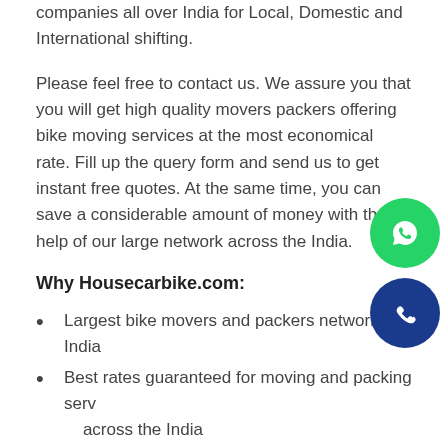companies all over India for Local, Domestic and International shifting.
Please feel free to contact us. We assure you that you will get high quality movers packers offering bike moving services at the most economical rate. Fill up the query form and send us to get instant free quotes. At the same time, you can save a considerable amount of money with the help of our large network across the India.
Why Housecarbike.com:
Largest bike movers and packers network in India
Best rates guaranteed for moving and packing services across the India
Keep your personal details safe and secure.
Instant free estimation and suggestions for the bike moving service.
We are not yellow pages; you will get more options than